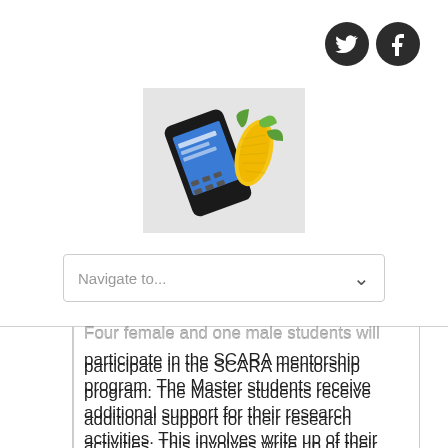[Figure (logo): Website logo showing a mobile phone with a corn cob graphic, on a light gray background]
[Figure (infographic): Navigation dropdown bar with text 'Navigate to...' and a chevron arrow on the right]
Four female and one male students will participate in the SCARA mentorship program. The Master students receive additional support for their research activities. This involves write up of their Master thesis and publishing of scientific papers through international supervision and an innovative scientific creative writing course. The mentorship program is facilitated through an e-